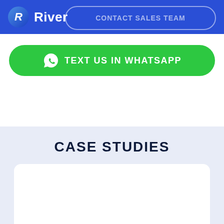River
CONTACT SALES TEAM
[Figure (screenshot): Green WhatsApp button with WhatsApp icon and text TEXT US IN WHATSAPP]
CASE STUDIES
[Figure (other): White card area at the bottom of the page, partially visible]